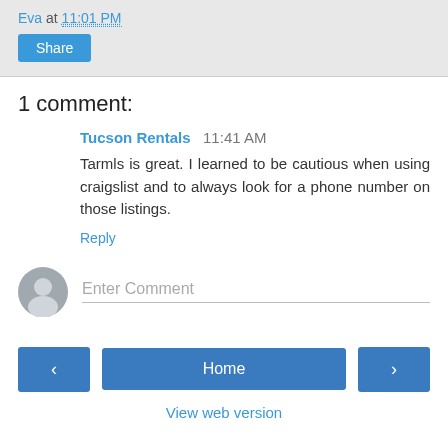Eva at 11:01 PM
Share
1 comment:
Tucson Rentals  11:41 AM
Tarmls is great. I learned to be cautious when using craigslist and to always look for a phone number on those listings.
Reply
Enter Comment
< Home > View web version